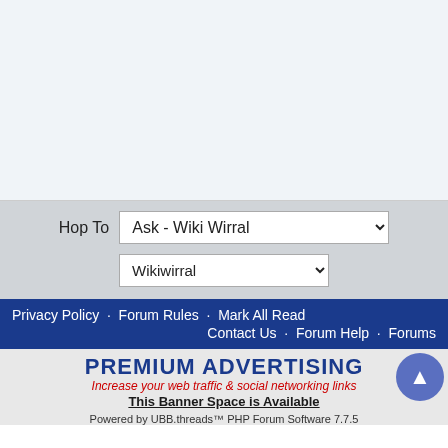[Figure (screenshot): White/light blue content area at top of forum page]
Hop To  Ask - Wiki Wirral
Wikiwirral
Privacy Policy · Forum Rules · Mark All Read
Contact Us · Forum Help · Forums
[Figure (infographic): PREMIUM ADVERTISING banner - Increase your web traffic & social networking links. This Banner Space is Available.]
Powered by UBB.threads™ PHP Forum Software 7.7.5